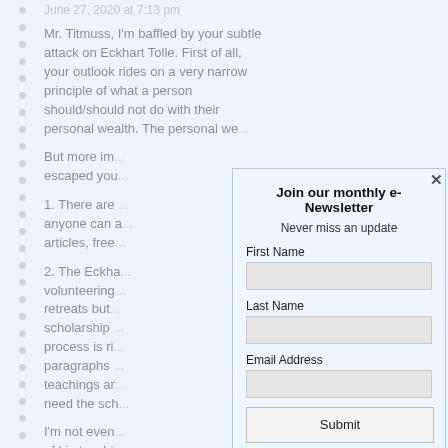June 27, 2020 at 7:13 pm
Mr. Titmuss, I'm baffled by your subtle attack on Eckhart Tolle. First of all, your outlook rides on a very narrow principle of what a person should/should not do with their personal wealth. The personal we...
But more im... escaped you...
1. There are ... anyone can a... articles, free...
2. The Eckha... volunteering... retreats but... scholarship... process is ri... paragraphs... teachings ar... need the sch...
I'm not even... of his teachi... comments, i...
[Figure (screenshot): Newsletter signup modal with title 'Join our monthly e-Newsletter', subtitle 'Never miss an update', fields for First Name, Last Name, Email Address, and a Submit button. Has a close X button in top right.]